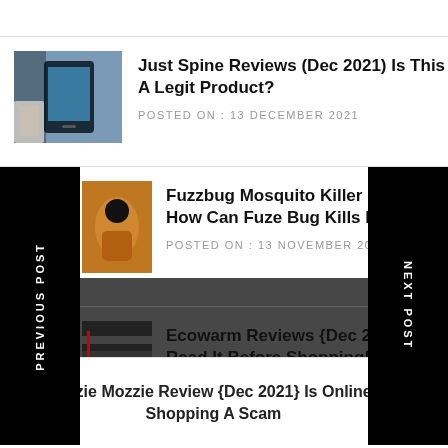[Figure (photo): Thumbnail image of a hand holding a smartphone]
Just Spine Reviews (Dec 2021) Is This A Legit Product?
POSTED ON : 13 DECEMBER 2021
[Figure (photo): Thumbnail image of an orange mosquito killer device]
Fuzzbug Mosquito Killer Reviews How Can Fuze Bug Kills Insects?
POSTED ON : 13 NOVEMBER 2021
[Figure (photo): Thumbnail image of stacked books]
Ecowarm Reviews {Dec 2021} Read It Before Shopping!
POSTED ON : 4 DECEMBER 2021
PREVIOUS POST
NEXT POST
Ozzie Mozzie Review {Dec 2021} Is Online Shopping A Scam